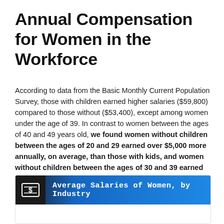Annual Compensation for Women in the Workforce
According to data from the Basic Monthly Current Population Survey, those with children earned higher salaries ($59,800) compared to those without ($53,400), except among women under the age of 39. In contrast to women between the ages of 40 and 49 years old, we found women without children between the ages of 20 and 29 earned over $5,000 more annually, on average, than those with kids, and women without children between the ages of 30 and 39 earned over $4,000 more, on average.
[Figure (other): Chart header banner reading 'Average Salaries of Women, by Industry' with a money/dollar icon on the left, dark to blue gradient background]